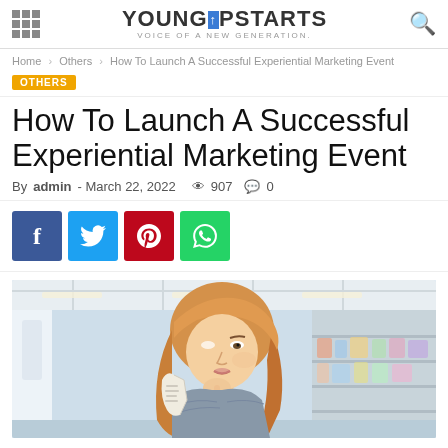YOUNGUPSTARTS — VOICE OF A NEW GENERATION.
Home › Others › How To Launch A Successful Experiential Marketing Event
OTHERS
How To Launch A Successful Experiential Marketing Event
By admin - March 22, 2022  907  0
[Figure (illustration): Social share buttons: Facebook (blue), Twitter (cyan), Pinterest (red), WhatsApp (green)]
[Figure (photo): A young blonde woman in a store, looking thoughtfully at a product she is holding, with store shelves blurred in the background.]